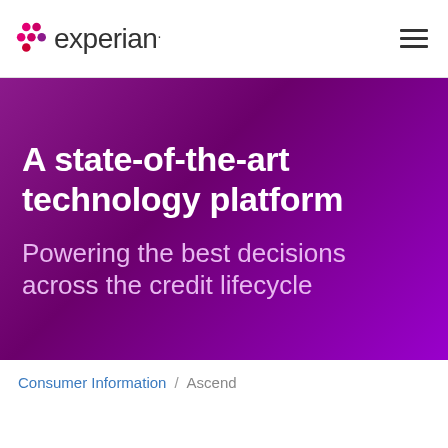experian. [logo] [hamburger menu]
A state-of-the-art technology platform
Powering the best decisions across the credit lifecycle
Consumer Information / Ascend